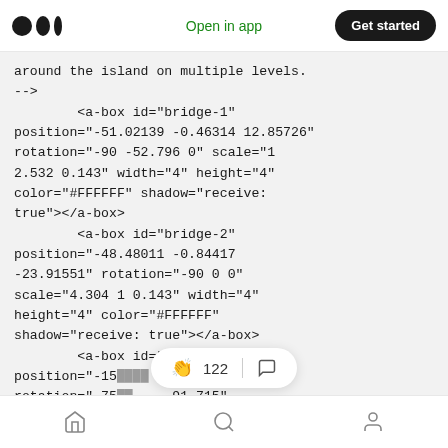Medium app header: logo, Open in app, Get started
around the island on multiple levels.
-->
        <a-box id="bridge-1" position="-51.02139 -0.46314 12.85726" rotation="-90 -52.796 0" scale="1 2.532 0.143" width="4" height="4" color="#FFFFFF" shadow="receive: true"></a-box>
        <a-box id="bridge-2" position="-48.48011 -0.84417 -23.91551" rotation="-90 0 0" scale="4.304 1 0.143" width="4" height="4" color="#FFFFFF" shadow="receive: true"></a-box>
        <a-box id="bridge-3" position="-15... 25.79727" rotation="-75... -91.715"
scale="5.080 1 0.143" width="4"
Home | Search | Profile navigation icons